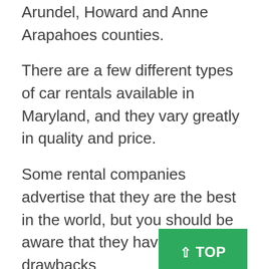Arundel, Howard and Anne Arapahoes counties.
There are a few different types of car rentals available in Maryland, and they vary greatly in quality and price.
Some rental companies advertise that they are the best in the world, but you should be aware that they have a few drawbacks
Read more about rental car companies in MarylandHere are a couple of car booking sites you can check out: Cheap Car Renting Maryland Car Rentals Maryland, the state's